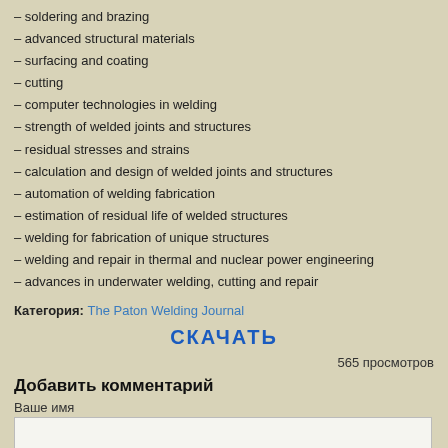– soldering and brazing
– advanced structural materials
– surfacing and coating
– cutting
– computer technologies in welding
– strength of welded joints and structures
– residual stresses and strains
– calculation and design of welded joints and structures
– automation of welding fabrication
– estimation of residual life of welded structures
– welding for fabrication of unique structures
– welding and repair in thermal and nuclear power engineering
– advances in underwater welding, cutting and repair
Категория: The Paton Welding Journal
СКАЧАТЬ
565 просмотров
Добавить комментарий
Ваше имя